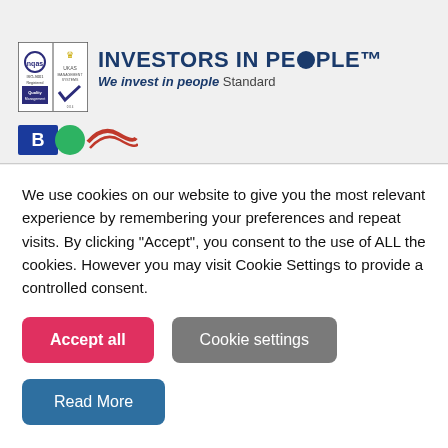[Figure (logo): NQAS ISO-9001 and UKAS Management Systems quality certification badge]
[Figure (logo): Investors in People logo with tagline 'We invest in people Standard']
[Figure (logo): BICA and another organisation logos partially visible]
We use cookies on our website to give you the most relevant experience by remembering your preferences and repeat visits. By clicking "Accept", you consent to the use of ALL the cookies. However you may visit Cookie Settings to provide a controlled consent.
Accept all
Cookie settings
Read More